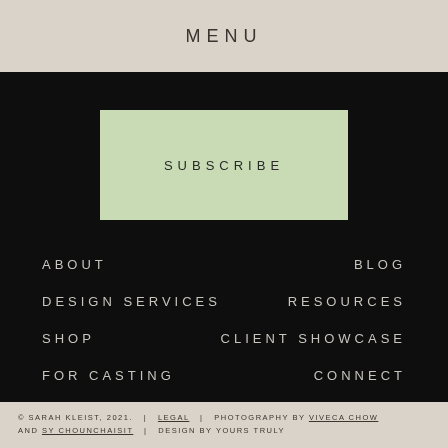MENU
SUBSCRIBE
ABOUT
BLOG
DESIGN SERVICES
RESOURCES
SHOP
CLIENT SHOWCASE
FOR CASTING
CONNECT
© SARAH KLEIST, 2021.  |  LEGAL  |  PHOTOGRAPHY BY VIVECA CHOW AND SY CHOUNCHAISIT  |  DESIGN BY YOURS TRULY